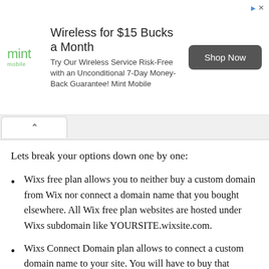[Figure (other): Mint Mobile advertisement banner with logo, headline 'Wireless for $15 Bucks a Month', body text, and 'Shop Now' button]
Lets break your options down one by one:
Wixs free plan allows you to neither buy a custom domain from Wix nor connect a domain name that you bought elsewhere. All Wix free plan websites are hosted under Wixs subdomain like YOURSITE.wixsite.com.
Wixs Connect Domain plan allows to connect a custom domain name to your site. You will have to buy that domain name separately. You can buy the domain from Wix or from any other registrar.
The rest of Wix plans come with a free domain name for the first year. This is an introductory offer from Wix,